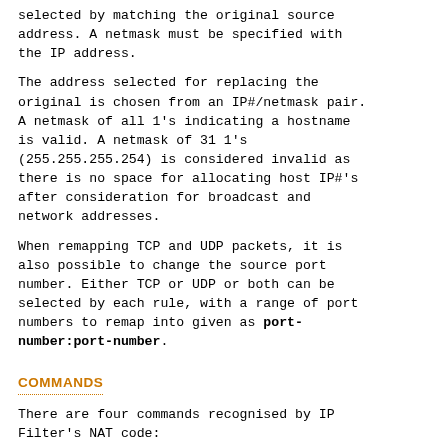selected by matching the original source address. A netmask must be specified with the IP address.
The address selected for replacing the original is chosen from an IP#/netmask pair. A netmask of all 1's indicating a hostname is valid. A netmask of 31 1's (255.255.255.254) is considered invalid as there is no space for allocating host IP#'s after consideration for broadcast and network addresses.
When remapping TCP and UDP packets, it is also possible to change the source port number. Either TCP or UDP or both can be selected by each rule, with a range of port numbers to remap into given as port-number:port-number.
COMMANDS
There are four commands recognised by IP Filter's NAT code:
map - that is used for mapping one address or network to another in an unregulated round robin fashion;